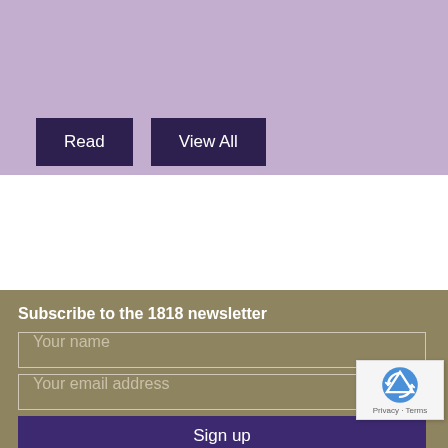[Figure (other): Purple/lavender background section with two dark buttons]
Read
View All
Subscribe to the 1818 newsletter
Your name
Your email address
Sign up